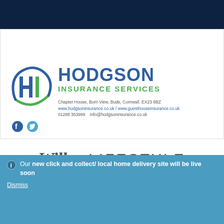[Figure (logo): Dark navy blue banner at top of page]
[Figure (logo): Hodgson Insurance Services logo with HI circular logo mark, social media icons, address and contact information. Chapter House, Burn View, Bude, Cornwall. EX23 8BZ. www.hodgsoninsurance.co.uk / www.guesthouseinsurance.co.uk. 01288 353999 info@hodgsoninsurance.co.uk]
[Figure (logo): Willow Lifestyle logo in grey italic and sans-serif text]
[Figure (screenshot): Grey banner]
Our new click and collect/ local home delivery site will be live soon
Dismiss